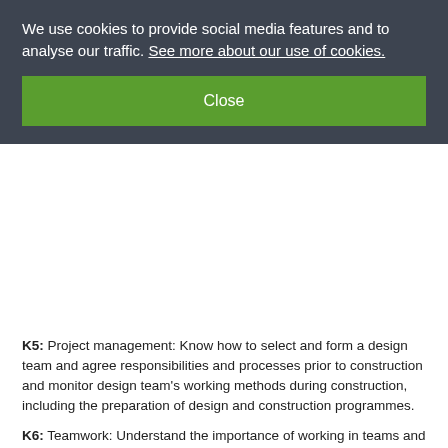We use cookies to provide social media features and to analyse our traffic. See more about our use of cookies.
Close
K5: Project management:  Know how to select and form a design team and agree responsibilities and processes prior to construction and monitor design team’s working methods during construction, including the preparation of design and construction programmes.
K6: Teamwork:  Understand the importance of working in teams and how to lead others towards common goals. Know how to develop and maintain relationships with other stakeholders.
K7: Design Documentation:  Know how to create and manage design information and the control of documentation associated with design.
K8: Construction Technology:  Know how to evaluate and